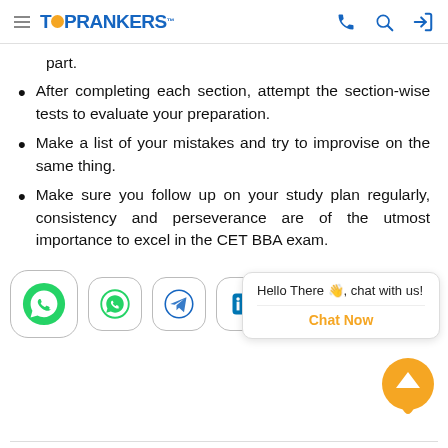TOPRANKERS
part.
After completing each section, attempt the section-wise tests to evaluate your preparation.
Make a list of your mistakes and try to improvise on the same thing.
Make sure you follow up on your study plan regularly, consistency and perseverance are of the utmost importance to excel in the CET BBA exam.
[Figure (screenshot): Social sharing icons: WhatsApp (large), WhatsApp, Telegram, LinkedIn rounded square buttons]
Hello There 👋, chat with us! Chat Now